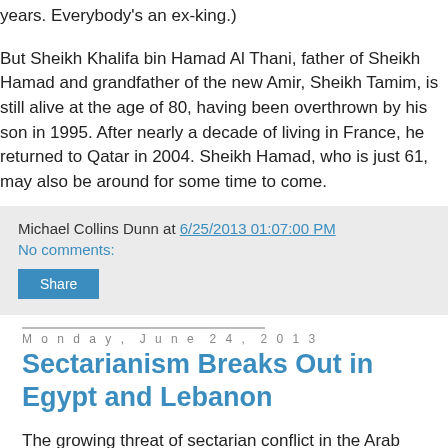years. Everybody's an ex-king.)
But Sheikh Khalifa bin Hamad Al Thani, father of Sheikh Hamad and grandfather of the new Amir, Sheikh Tamim, is still alive at the age of 80, having been overthrown by his son in 1995. After nearly a decade of living in France, he returned to Qatar in 2004. Sheikh Hamad, who is just 61, may also be around for some time to come.
Michael Collins Dunn at 6/25/2013 01:07:00 PM
No comments:
Share
Monday, June 24, 2013
Sectarianism Breaks Out in Egypt and Lebanon
The growing threat of sectarian conflict in the Arab world has seen two new outbursts: an anti-Shi'ite pogrom in a village in